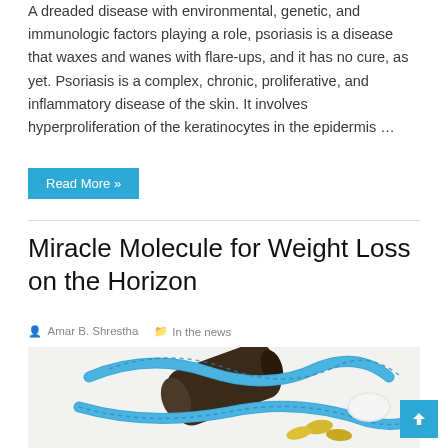A dreaded disease with environmental, genetic, and immunologic factors playing a role, psoriasis is a disease that waxes and wanes with flare-ups, and it has no cure, as yet. Psoriasis is a complex, chronic, proliferative, and inflammatory disease of the skin. It involves hyperproliferation of the keratinocytes in the epidermis …
Read More »
Miracle Molecule for Weight Loss on the Horizon
Amar B. Shrestha   In the news
[Figure (photo): A dark pill bottle lying on its side wrapped with a blue measuring tape, with yellow gel capsules and a white pill cap scattered nearby on a white surface.]